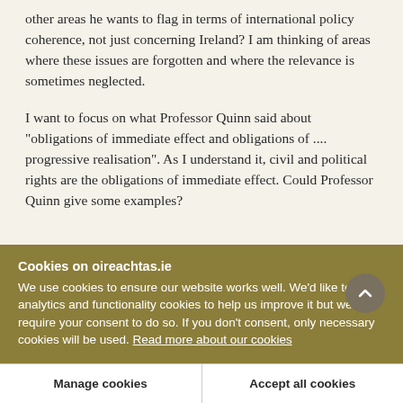other areas he wants to flag in terms of international policy coherence, not just concerning Ireland? I am thinking of areas where these issues are forgotten and where the relevance is sometimes neglected.
I want to focus on what Professor Quinn said about "obligations of immediate effect and obligations of .... progressive realisation". As I understand it, civil and political rights are the obligations of immediate effect. Could Professor Quinn give some examples? Th...
Cookies on oireachtas.ie
We use cookies to ensure our website works well. We'd like to use analytics and functionality cookies to help us improve it but we require your consent to do so. If you don't consent, only necessary cookies will be used. Read more about our cookies
Manage cookies
Accept all cookies